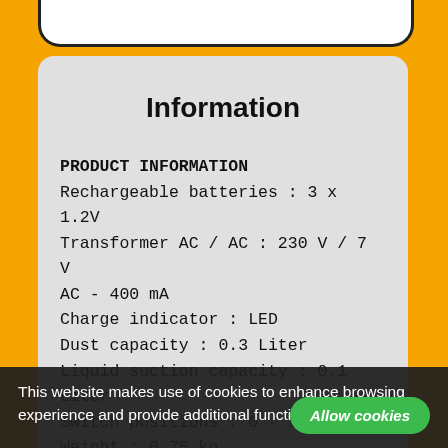Information
PRODUCT INFORMATION
Rechargeable batteries : 3 x 1.2V
Transformer AC / AC : 230 V / 7 V AC - 400 mA
Charge indicator : LED
Dust capacity : 0.3 Liter
Liquid suction capacity : 0.1 Liter
Switch positions : 0 - 1 - 2
Weight : 0.75 kg
Dimensions : 16.7 x 40.4 x 11.2 cm
This website makes use of cookies to enhance browsing experience and provide additional functionality. Details